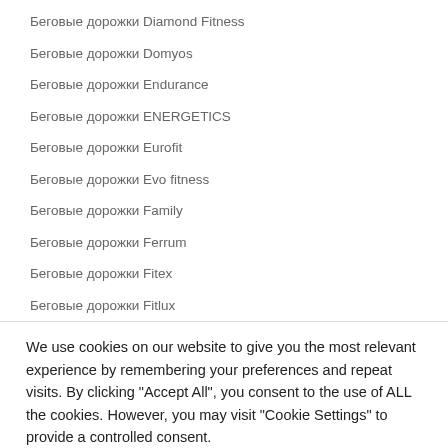Беговые дорожки Diamond Fitness
Беговые дорожки Domyos
Беговые дорожки Endurance
Беговые дорожки ENERGETICS
Беговые дорожки Eurofit
Беговые дорожки Evo fitness
Беговые дорожки Family
Беговые дорожки Ferrum
Беговые дорожки Fitex
Беговые дорожки Fitlux
We use cookies on our website to give you the most relevant experience by remembering your preferences and repeat visits. By clicking "Accept All", you consent to the use of ALL the cookies. However, you may visit "Cookie Settings" to provide a controlled consent.